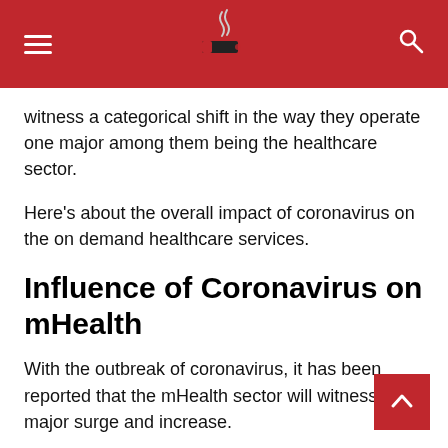Navigation header with hamburger menu, smoking/health logo, and search icon
witness a categorical shift in the way they operate one major among them being the healthcare sector.
Here's about the overall impact of coronavirus on the on demand healthcare services.
Influence of Coronavirus on mHealth
With the outbreak of coronavirus, it has been reported that the mHealth sector will witness a major surge and increase.